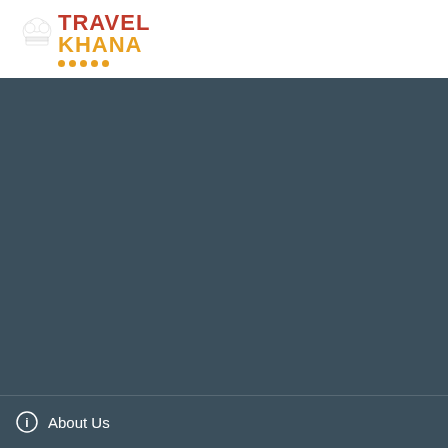[Figure (logo): Travel Khana logo with chef hat icon, 'TRAVEL' in red and 'KHANA' in orange/gold with decorative dots beneath]
[Figure (other): Large dark blue-grey background area filling most of the page]
About Us